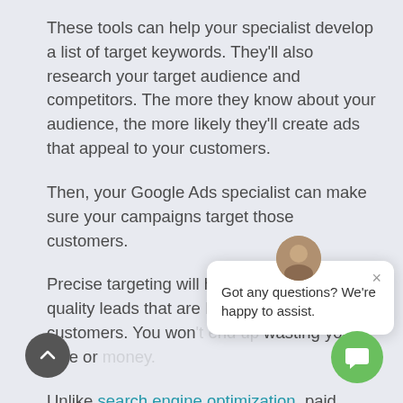These tools can help your specialist develop a list of target keywords. They'll also research your target audience and competitors. The more they know about your audience, the more likely they'll create ads that appeal to your customers.
Then, your Google Ads specialist can make sure your campaigns target those customers.
Precise targeting will help you attr... high-quality leads that are... customers. You won... wasting your time or...
[Figure (screenshot): Chat popup overlay with avatar photo, close button (×), and message 'Got any questions? We're happy to assist.']
Unlike search engine optimization, paid advertising with Google Ads works immedia... You won't have to wait to start generating
[Figure (other): Scroll-up circular grey button at bottom left]
[Figure (other): Green circular chat button at bottom right]